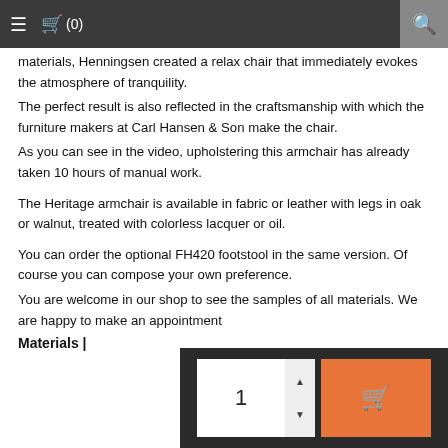≡  🛒 (0)  🔍
materials, Henningsen created a relax chair that immediately evokes the atmosphere of tranquility. The perfect result is also reflected in the craftsmanship with which the furniture makers at Carl Hansen & Son make the chair. As you can see in the video, upholstering this armchair has already taken 10 hours of manual work.

The Heritage armchair is available in fabric or leather with legs in oak or walnut, treated with colorless lacquer or oil.

You can order the optional FH420 footstool in the same version. Of course you can compose your own preference. You are welcome in our shop to see the samples of all materials. We are happy to make an appointment
Materials |